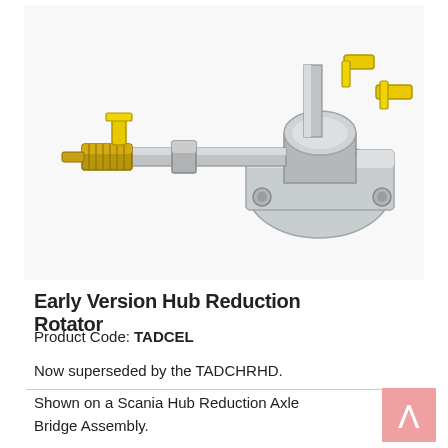[Figure (photo): Photo of the Early Version Hub Reduction Rotator — a metal mechanical assembly with yellow valve handles, threaded fittings, and a flat mounting plate with bolt holes. The component appears to be a hydraulic or pneumatic rotator fitting, shown on a white background.]
Early Version Hub Reduction Rotator
Product Code: TADCEL
Now superseded by the TADCHRHD.
Shown on a Scania Hub Reduction Axle Bridge Assembly.